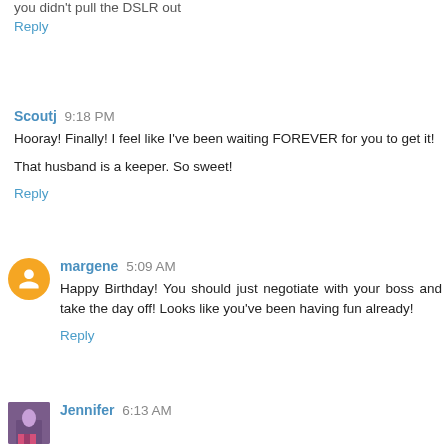you didn't pull the DSLR out
Reply
Scoutj 9:18 PM
Hooray! Finally! I feel like I've been waiting FOREVER for you to get it!
That husband is a keeper. So sweet!
Reply
margene 5:09 AM
Happy Birthday! You should just negotiate with your boss and take the day off! Looks like you've been having fun already!
Reply
Jennifer 6:13 AM